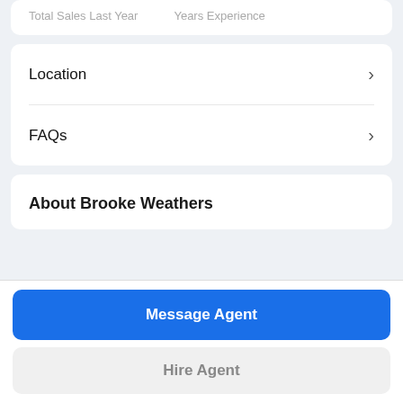Total Sales Last Year | Years Experience
Location
FAQs
About Brooke Weathers
Message Agent
Hire Agent